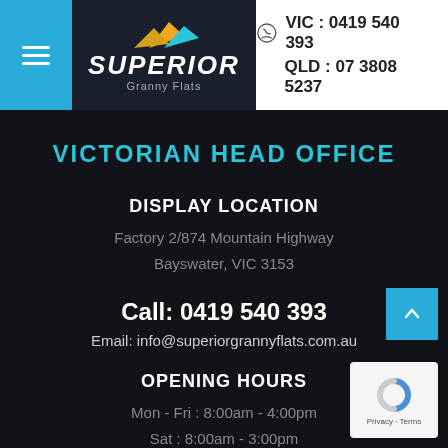[Figure (logo): Superior Granny Flats logo with mountain graphic and blue menu icon]
VIC : 0419 540 393
QLD : 07 3808 5237
VICTORIAN HEAD OFFICE
DISPLAY LOCATION
Factory 2/874 Mountain Highway
Bayswater, VIC 3153
Call: 0419 540 393
Email: info@superiorgrannyflats.com.au
OPENING HOURS
Mon - Fri : 8:00am - 4:00pm
Sat : 8:00am - 3:00pm